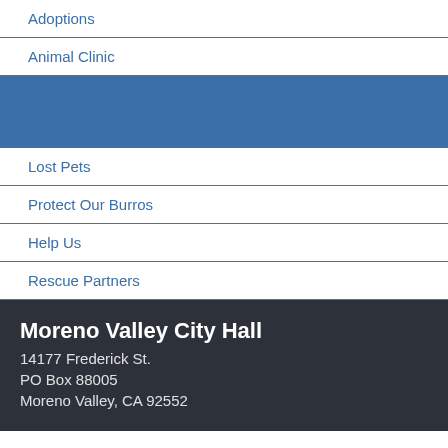Adoptions
Animal Clinic
[Figure (other): Blue highlighted navigation bar (selected state)]
Lost Pets
Protect Our Burros
Help Us
Rescue Partners
Moreno Valley City Hall
14177 Frederick St.
PO Box 88005
Moreno Valley, CA 92552